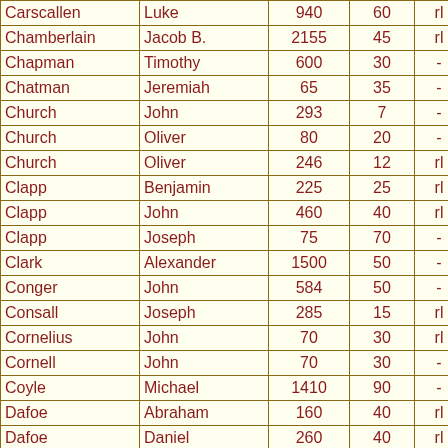| Last Name | First Name | Col3 | Col4 | Col5 | Col6 |
| --- | --- | --- | --- | --- | --- |
| Carscallen | Luke | 940 | 60 | rl | 3 |
| Chamberlain | Jacob B. | 2155 | 45 | rl | 2 |
| Chapman | Timothy | 600 | 30 | - | 2 |
| Chatman | Jeremiah | 65 | 35 | - | - |
| Church | John | 293 | 7 | - | 1 |
| Church | Oliver | 80 | 20 | - | - |
| Church | Oliver | 246 | 12 | rl | 3 |
| Clapp | Benjamin | 225 | 25 | rl | 4 |
| Clapp | John | 460 | 40 | rl | 2 |
| Clapp | Joseph | 75 | 70 | - | 2 |
| Clark | Alexander | 1500 | 50 | - | 1 |
| Conger | John | 584 | 50 | - | 2 |
| Consall | Joseph | 285 | 15 | rl | - |
| Cornelius | John | 70 | 30 | rl | - |
| Cornell | John | 70 | 30 | - | 1 |
| Coyle | Michael | 1410 | 90 | - | 2 |
| Dafoe | Abraham | 160 | 40 | rl | 1 |
| Dafoe | Daniel | 260 | 40 | rl | 1 |
| Dafoe | George | 160 | 40 | - | 1 |